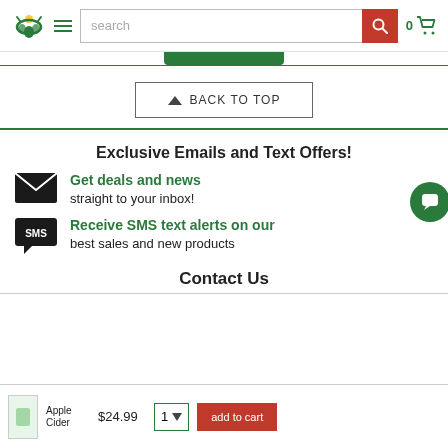Header navigation bar with logo, hamburger menu, search bar, and cart icon showing 0 items
[Figure (screenshot): Green tab below header navigation]
[Figure (infographic): BACK TO TOP button with upward arrow triangle]
Exclusive Emails and Text Offers!
[Figure (illustration): Envelope icon for email offers]
Get deals and news straight to your inbox!
[Figure (illustration): SMS speech bubble icon]
Receive SMS text alerts on our best sales and new products
Contact Us
Apple Cider product bottom bar with price $24.99, quantity 1, and add to cart button